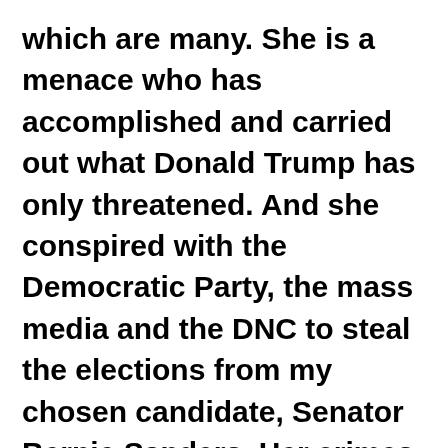which are many.  She is a menace who has accomplished and carried out what Donald Trump has only threatened.  And she conspired with the Democratic Party, the mass media and the DNC to steal the elections from my chosen candidate, Senator Bernie Sanders.  Her crimes, even if she hasn't been indicted or convicted because of her huge corporate support, are legion.